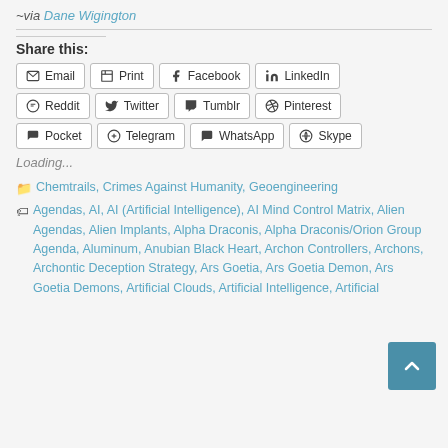~via Dane Wigington
Share this:
Email | Print | Facebook | LinkedIn | Reddit | Twitter | Tumblr | Pinterest | Pocket | Telegram | WhatsApp | Skype
Loading...
Chemtrails, Crimes Against Humanity, Geoengineering Agendas, AI, AI (Artificial Intelligence), AI Mind Control Matrix, Alien Agendas, Alien Implants, Alpha Draconis, Alpha Draconis/Orion Group Agenda, Aluminum, Anubian Black Heart, Archon Controllers, Archons, Archontic Deception Strategy, Ars Goetia, Ars Goetia Demon, Ars Goetia Demons, Artificial Clouds, Artificial Intelligence, Artificial